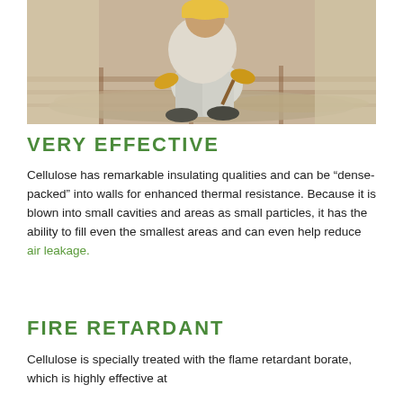[Figure (photo): A worker in yellow gloves crouching and spreading cellulose insulation material on a floor between wooden joists, with beige fabric/wrap visible on the walls in the background.]
VERY EFFECTIVE
Cellulose has remarkable insulating qualities and can be “dense-packed” into walls for enhanced thermal resistance. Because it is blown into small cavities and areas as small particles, it has the ability to fill even the smallest areas and can even help reduce air leakage.
FIRE RETARDANT
Cellulose is specially treated with the flame retardant borate, which is highly effective at